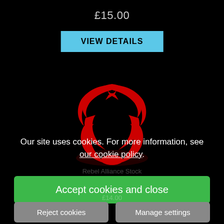£15.00
[Figure (other): Blue 'VIEW DETAILS' button with light blue background and bold black text]
[Figure (logo): Star Wars Rebel Alliance logo in red on black background]
Our site uses cookies. For more information, see our cookie policy.
Accept cookies and close
Reject cookies
Manage settings